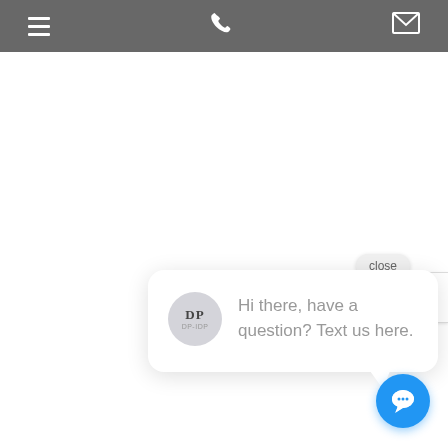Navigation bar with hamburger menu, phone icon, and email icon
[Figure (screenshot): Chat popup bubble with avatar 'DP', text 'Hi there, have a question? Text us here.', close button, and blue chat button at bottom right. Partial reCAPTCHA widget visible on right edge.]